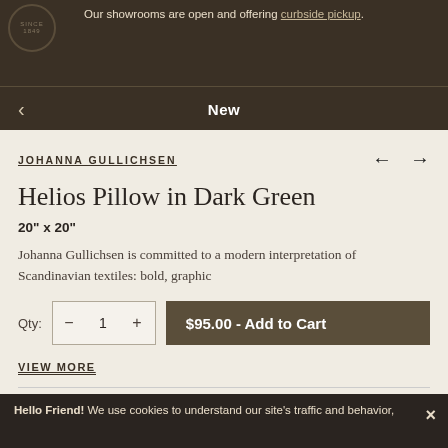Our showrooms are open and offering curbside pickup.
New
JOHANNA GULLICHSEN
Helios Pillow in Dark Green
20" x 20"
Johanna Gullichsen is committed to a modern interpretation of Scandinavian textiles: bold, graphic
Qty: 1   $95.00 - Add to Cart
VIEW MORE
IN STOCK   SKU: JG-090
Hello Friend! We use cookies to understand our site's traffic and behavior,